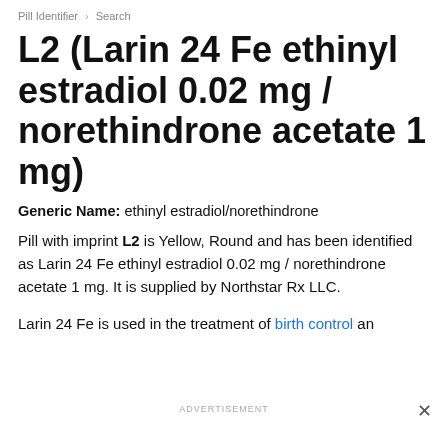Pill Identifier > Search
L2 (Larin 24 Fe ethinyl estradiol 0.02 mg / norethindrone acetate 1 mg)
Generic Name: ethinyl estradiol/norethindrone
Pill with imprint L2 is Yellow, Round and has been identified as Larin 24 Fe ethinyl estradiol 0.02 mg / norethindrone acetate 1 mg. It is supplied by Northstar Rx LLC.
Larin 24 Fe is used in the treatment of birth control an
ADVERTISEMENT